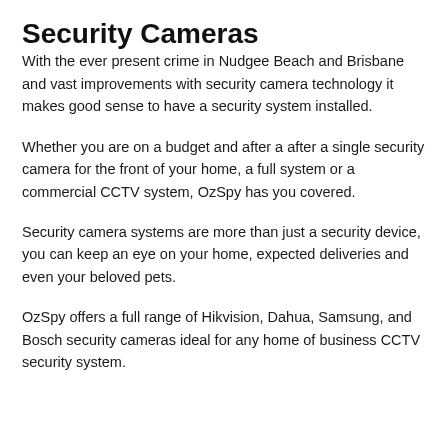Security Cameras
With the ever present crime in Nudgee Beach and Brisbane and vast improvements with security camera technology it makes good sense to have a security system installed.
Whether you are on a budget and after a after a single security camera for the front of your home, a full system or a commercial CCTV system, OzSpy has you covered.
Security camera systems are more than just a security device, you can keep an eye on your home, expected deliveries and even your beloved pets.
OzSpy offers a full range of Hikvision, Dahua, Samsung, and Bosch security cameras ideal for any home of business CCTV security system.